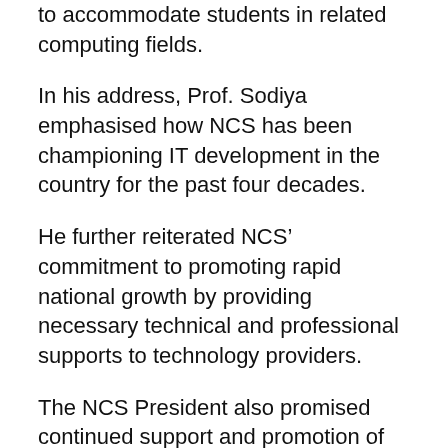to accommodate students in related computing fields.
In his address, Prof. Sodiya emphasised how NCS has been championing IT development in the country for the past four decades.
He further reiterated NCS' commitment to promoting rapid national growth by providing necessary technical and professional supports to technology providers.
The NCS President also promised continued support and promotion of technological development and information Technology business for sustainable development of the nation.
Sodiya also used the medium to invite all IT practitioners to come under the umbrella of NCS.
“Membership of NCS is open to all IT practitioners, Prof. Sodiya said.